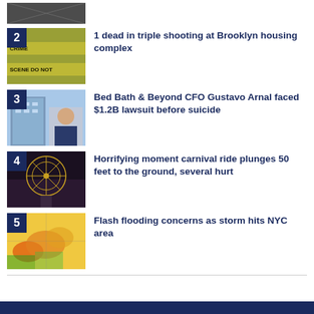[Figure (photo): Partial image at top (item 1 cropped)]
2 - 1 dead in triple shooting at Brooklyn housing complex
[Figure (photo): Crime scene tape image]
3 - Bed Bath & Beyond CFO Gustavo Arnal faced $1.2B lawsuit before suicide
[Figure (photo): Building and man portrait composite]
4 - Horrifying moment carnival ride plunges 50 feet to the ground, several hurt
[Figure (photo): Carnival ferris wheel at night]
5 - Flash flooding concerns as storm hits NYC area
[Figure (photo): Weather radar map showing storm]